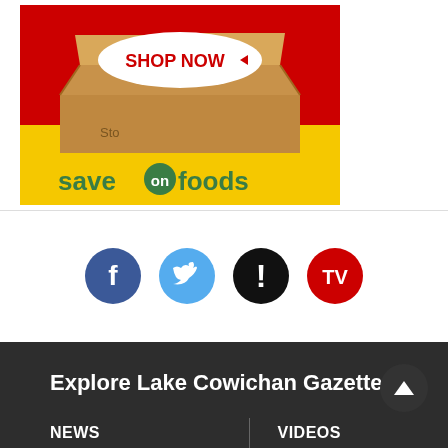[Figure (illustration): Save on Foods advertisement banner showing an open cardboard box on red background with 'SHOP NOW' button and Save on Foods logo on yellow background]
[Figure (infographic): Row of four social media/app icon circles: Facebook (blue, white f), Twitter (light blue, white bird), Alert/Notification (black, white exclamation mark), TV (red, white TV text)]
Explore Lake Cowichan Gazette
NEWS
VIDEOS